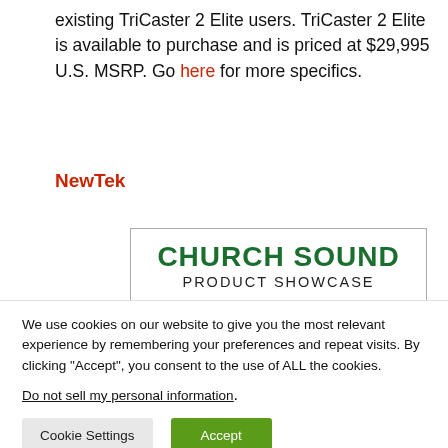existing TriCaster 2 Elite users. TriCaster 2 Elite is available to purchase and is priced at $29,995 U.S. MSRP. Go here for more specifics.
NewTek
[Figure (illustration): Church Sound Product Showcase banner with green bold title text, subtitle 'PRODUCT SHOWCASE', ProSoundWeb logo and Church Sound logo at bottom, weekly newsletter text.]
We use cookies on our website to give you the most relevant experience by remembering your preferences and repeat visits. By clicking "Accept", you consent to the use of ALL the cookies.
Do not sell my personal information.
Cookie Settings   Accept